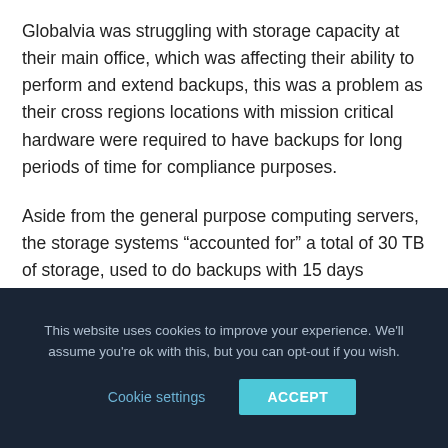Globalvia was struggling with storage capacity at their main office, which was affecting their ability to perform and extend backups, this was a problem as their cross regions locations with mission critical hardware were required to have backups for long periods of time for compliance purposes.
Aside from the general purpose computing servers, the storage systems “accounted for” a total of 30 TB of storage, used to do backups with 15 days mandatory retention policy, that where reaching its end-of-life and weren't able
This website uses cookies to improve your experience. We'll assume you're ok with this, but you can opt-out if you wish.
Cookie settings
ACCEPT